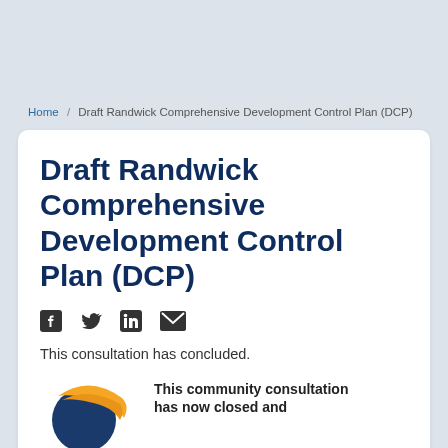Home / Draft Randwick Comprehensive Development Control Plan (DCP)
Draft Randwick Comprehensive Development Control Plan (DCP)
[Figure (infographic): Social media share icons: Facebook, Twitter, LinkedIn, Email]
This consultation has concluded.
[Figure (logo): Circular logo with orange swoosh arc and globe imagery]
This community consultation has now closed and